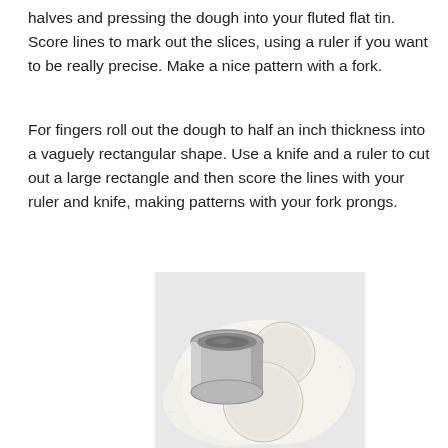halves and pressing the dough into your fluted flat tin. Score lines to mark out the slices, using a ruler if you want to be really precise. Make a nice pattern with a fork.
For fingers roll out the dough to half an inch thickness into a vaguely rectangular shape. Use a knife and a ruler to cut out a large rectangle and then score the lines with your ruler and knife, making patterns with your fork prongs.
[Figure (photo): Photo of white dough on a white surface with a round metal cookie cutter placed on it, showing two circular cut-out rounds of dough and the cutter itself.]